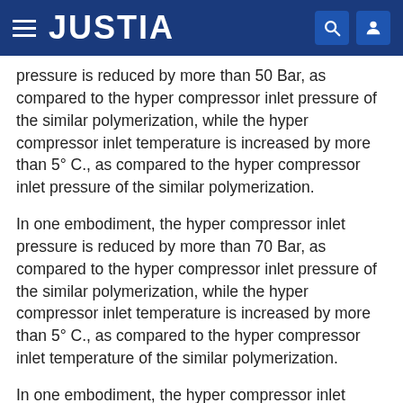JUSTIA
pressure is reduced by more than 50 Bar, as compared to the hyper compressor inlet pressure of the similar polymerization, while the hyper compressor inlet temperature is increased by more than 5° C., as compared to the hyper compressor inlet pressure of the similar polymerization.
In one embodiment, the hyper compressor inlet pressure is reduced by more than 70 Bar, as compared to the hyper compressor inlet pressure of the similar polymerization, while the hyper compressor inlet temperature is increased by more than 5° C., as compared to the hyper compressor inlet temperature of the similar polymerization.
In one embodiment, the hyper compressor inlet pressure is reduced by more than 40 Bar, as compared